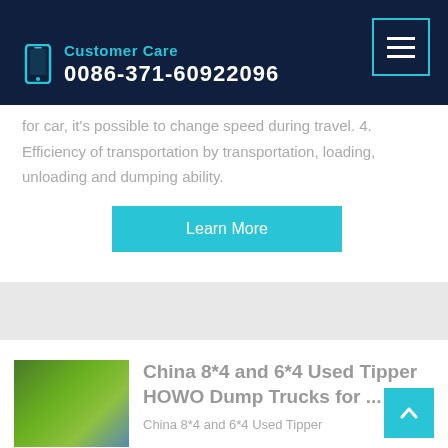Customer Care
0086-371-60922096
for car, it's possible to change speed during travel. 4. Efficiency of transportation by transportation, loading, unloading and dumping ability.
Learn More
China 8*4 and 6*4 Used Tipper HOWO Dump Trucks for ...
China 8*4 and 6*4 Used Tipper